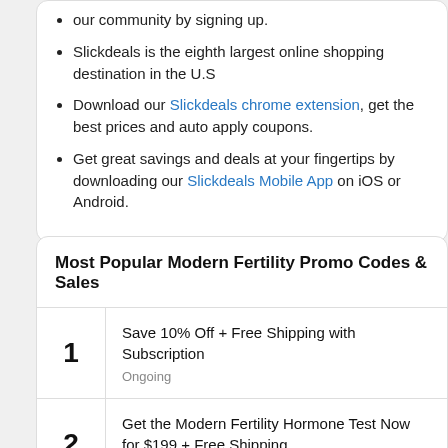our community by signing up.
Slickdeals is the eighth largest online shopping destination in the U.S
Download our Slickdeals chrome extension, get the best prices and auto apply coupons.
Get great savings and deals at your fingertips by downloading our Slickdeals Mobile App on iOS or Android.
Most Popular Modern Fertility Promo Codes & Sales
| # | Deal |
| --- | --- |
| 1 | Save 10% Off + Free Shipping with Subscription
Ongoing |
| 2 | Get the Modern Fertility Hormone Test Now for $199 + Free Shipping
Ongoing |